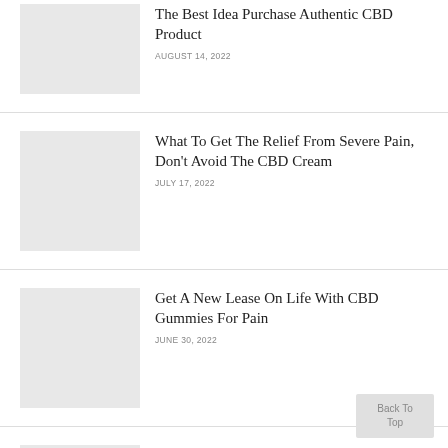The Best Idea Purchase Authentic CBD Product
AUGUST 14, 2022
What To Get The Relief From Severe Pain, Don't Avoid The CBD Cream
JULY 17, 2022
Get A New Lease On Life With CBD Gummies For Pain
JUNE 30, 2022
The Promising Effects Of CBD Cream For Pain Relief
JUNE 8, 2022